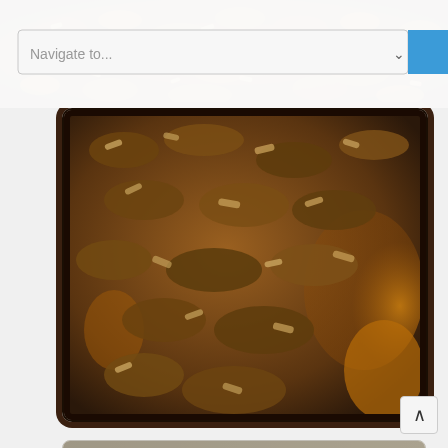[Figure (photo): Close-up photo of a fruit crumble dessert in a baking dish, showing oat and brown sugar topping with caramelized fruit filling visible at edges. Warm brown tones with dark border, Instagram-style filter.]
[Figure (screenshot): Website navigation bar overlay with a 'Navigate to...' dropdown selector and a blue button on the right.]
[Figure (photo): Photo of a Toshiba laptop keyboard with a white mug of tea/coffee to the right, placed on a wooden surface. Warm vintage Instagram-style filter. Partial view of laptop showing keyboard and touchpad.]